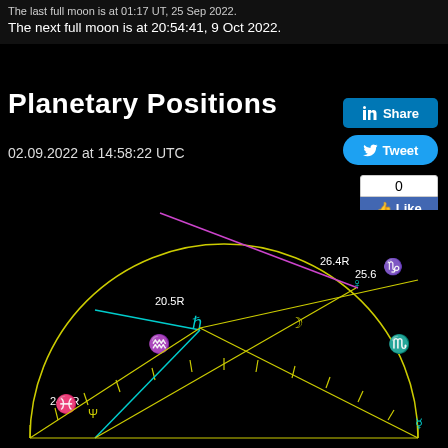The next full moon is at 20:54:41, 9 Oct 2022.
Planetary Positions
02.09.2022 at 14:58:22 UTC
[Figure (infographic): Planetary positions diagram showing celestial bodies on a semicircular chart with astrological symbols. Includes Saturn (ħ) at 20.5R, Neptune (Ψ) at 24.4R, Venus (♀) at 26.4R, Moon (☽) at 25.6, and other planetary symbols including Aquarius, Pisces, Capricorn, and Scorpio glyphs. Colored lines (cyan, magenta, yellow) intersect inside the semicircle.]